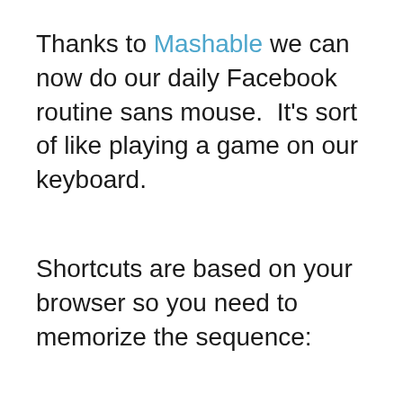Thanks to Mashable we can now do our daily Facebook routine sans mouse.  It's sort of like playing a game on our keyboard.
Shortcuts are based on your browser so you need to memorize the sequence: